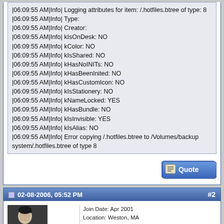|06:09:55 AM|Info| Logging attributes for item: /.hotfiles.btree of type: 8
|06:09:55 AM|Info| Type:
|06:09:55 AM|Info| Creator:
|06:09:55 AM|Info| kIsOnDesk: NO
|06:09:55 AM|Info| kColor: NO
|06:09:55 AM|Info| kIsShared: NO
|06:09:55 AM|Info| kHasNoINITs: NO
|06:09:55 AM|Info| kHasBeenInited: NO
|06:09:55 AM|Info| kHasCustomIcon: NO
|06:09:55 AM|Info| kIsStationery: NO
|06:09:55 AM|Info| kNameLocked: YES
|06:09:55 AM|Info| kHasBundle: NO
|06:09:55 AM|Info| kIsInvisible: YES
|06:09:55 AM|Info| kIsAlias: NO
|06:09:55 AM|Info| Error copying /.hotfiles.btree to /Volumes/backup system/.hotfiles.btree of type 8
02-08-2006, 05:52 PM
#2
dnanian
Administrator
Join Date: Apr 2001
Location: Weston, MA
Posts: 14,818
What's weird here is that ".hotfiles.btree" is ignored during a full backup, and shouldn't be copied at all. Did you update this particular copy of SuperDuper! from a previous version?